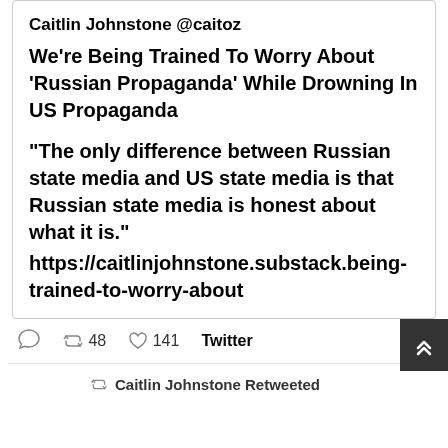Caitlin Johnstone @caitoz
We're Being Trained To Worry About 'Russian Propaganda' While Drowning In US Propaganda
"The only difference between Russian state media and US state media is that Russian state media is honest about what it is." https://caitlinjohnstone.substack.being-trained-to-worry-about
48  141  Twitter
Caitlin Johnstone Retweeted